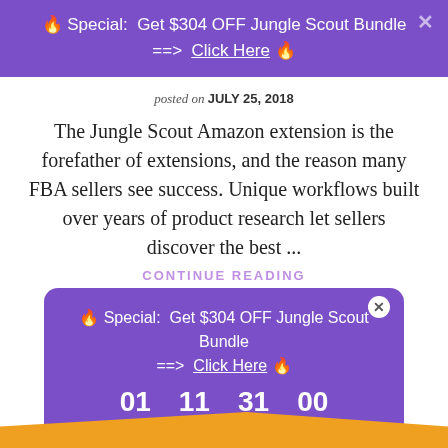🔥 Special:  Get $304 OFF Jungle Scout Bundle  ==>  Click Here 🔥
posted on JULY 25, 2018
The Jungle Scout Amazon extension is the forefather of extensions, and the reason many FBA sellers see success. Unique workflows built over years of product research let sellers discover the best ...
CONTINUE READING
[Figure (infographic): Purple popup overlay with special offer text, 'Get $304 OFF Jungle Scout Bundle ==> Click Here' and countdown timer showing 01 DAYS, 11 HRS, 31 MINS, 00 SECS]
[Figure (illustration): Orange decorative chevron/arrow shape at the bottom of the page]